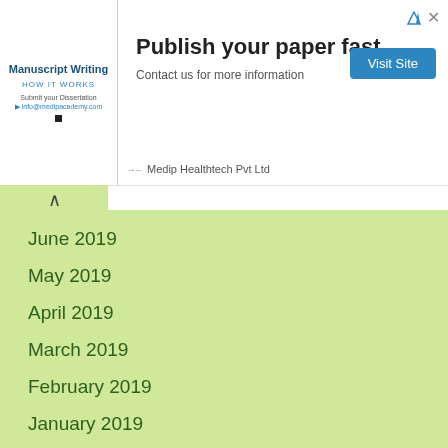[Figure (other): Advertisement banner for Medip Healthtech Pvt Ltd promoting manuscript writing service with 'Publish your paper fast' headline, Visit Site button, and contact information.]
June 2019
May 2019
April 2019
March 2019
February 2019
January 2019
December 2018
November 2018
October 2018
September 2018